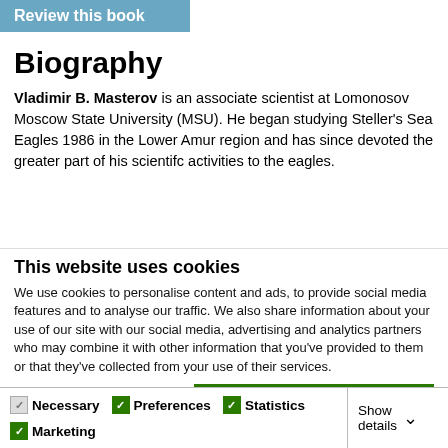Review this book
Biography
Vladimir B. Masterov is an associate scientist at Lomonosov Moscow State University (MSU). He began studying Steller's Sea Eagles 1986 in the Lower Amur region and has since devoted the greater part of his scientifc activities to the eagles.
This website uses cookies
We use cookies to personalise content and ads, to provide social media features and to analyse our traffic. We also share information about your use of our site with our social media, advertising and analytics partners who may combine it with other information that you've provided to them or that they've collected from your use of their services.
Allow all cookies
Allow selection
Use necessary cookies only
Necessary  Preferences  Statistics  Marketing  Show details